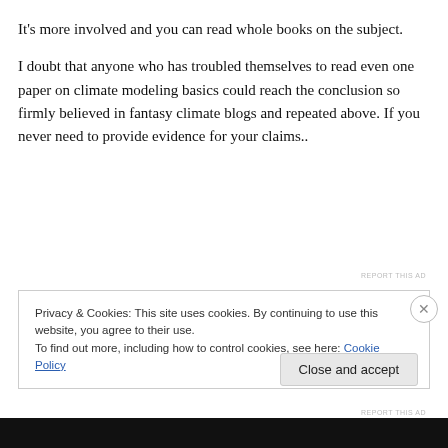It's more involved and you can read whole books on the subject.
I doubt that anyone who has troubled themselves to read even one paper on climate modeling basics could reach the conclusion so firmly believed in fantasy climate blogs and repeated above. If you never need to provide evidence for your claims..
REPORT THIS AD
Privacy & Cookies: This site uses cookies. By continuing to use this website, you agree to their use.
To find out more, including how to control cookies, see here: Cookie Policy
Close and accept